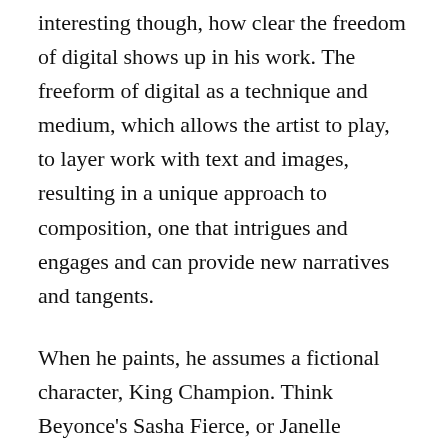interesting though, how clear the freedom of digital shows up in his work. The freeform of digital as a technique and medium, which allows the artist to play, to layer work with text and images, resulting in a unique approach to composition, one that intrigues and engages and can provide new narratives and tangents.
When he paints, he assumes a fictional character, King Champion. Think Beyonce's Sasha Fierce, or Janelle Monae's Cindi Mayweather. As King Champion, he searches and finds ancient stories of Africans, stories of who we are and how we came to be and tells them in a bold, visual language. One would say he is influenced by Haitian American contemporary master, Jean